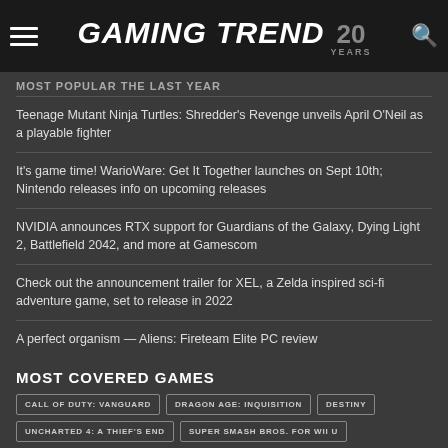Gaming Trend 20 YEARS
MOST POPULAR THE LAST YEAR
Teenage Mutant Ninja Turtles: Shredder's Revenge unveils April O'Neil as a playable fighter
It's game time! WarioWare: Get It Together launches on Sept 10th; Nintendo releases info on upcoming releases
NVIDIA announces RTX support for Guardians of the Galaxy, Dying Light 2, Battlefield 2042, and more at Gamescom
Check out the announcement trailer for XEL, a Zelda inspired sci-fi adventure game, set to release in 2022
A perfect organism — Aliens: Fireteam Elite PC review
MOST COVERED GAMES
CALL OF DUTY: VANGUARD
DRAGON AGE: INQUISITION
DESTINY
UNCHARTED 4: A THIEF'S END
SUPER SMASH BROS. FOR WII U
STREET FIGHTER V
THE WITCHER 3: WILD HUNT
OVERWATCH
GRAND THEFT AUTO V
FINAL FANTASY XV
DESTINY 2